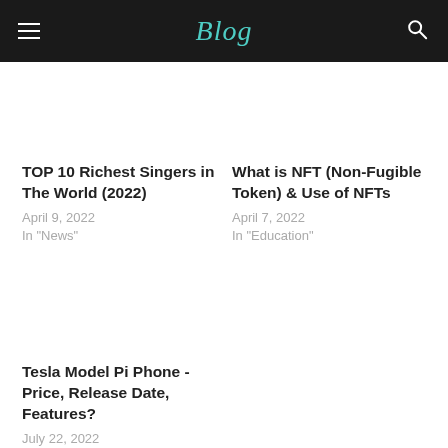Blog
TOP 10 Richest Singers in The World (2022)
April 9, 2022
In "News"
What is NFT (Non-Fugible Token) & Use of NFTs
April 7, 2022
In "Education"
Tesla Model Pi Phone - Price, Release Date, Features?
July 22, 2022
In "News"